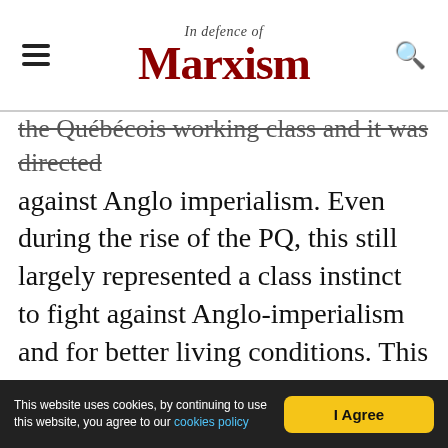In Defence of Marxism
the Québécois working class and it was directed against Anglo imperialism. Even during the rise of the PQ, this still largely represented a class instinct to fight against Anglo-imperialism and for better living conditions. This was mostly due to the absence of an independent workers' party. However, as class divisions in the national liberation movement developed and the Québécois bourgeoisie became very aware of its class interests, nationalism was more and more used to divert the attention of the workers away from the class struggle. While in the past, a strike movement would invariably be Francophone workers striking
This website uses cookies, by continuing to use this website, you agree to our cookies policy  I Agree